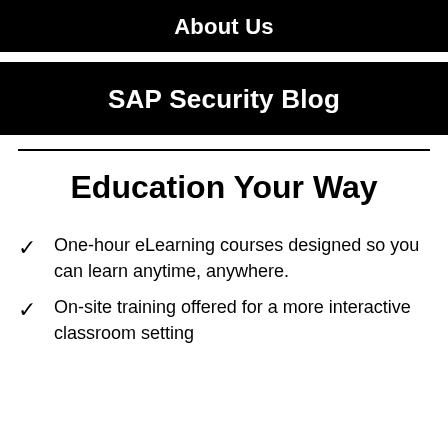About Us
SAP Security Blog
Education Your Way
One-hour eLearning courses designed so you can learn anytime, anywhere.
On-site training offered for a more interactive classroom setting